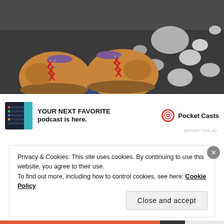[Figure (photo): Overhead view of a person's hiking boots with red laces standing on a rocky/pebbled ground with dark wet stones]
[Figure (screenshot): Advertisement for Pocket Casts app: shows app screenshot thumbnail on left, text 'Your next favorite podcast is here.' in center, Pocket Casts logo and name on right]
REPORT THIS AD
Privacy & Cookies: This site uses cookies. By continuing to use this website, you agree to their use.
To find out more, including how to control cookies, see here: Cookie Policy
Close and accept